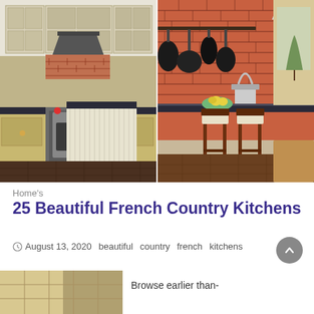[Figure (photo): A French country kitchen showing cream/yellow cabinetry with glass fronts, a stainless steel range with red knobs, brick backsplash on the left side, and on the right side an exposed brick wall with hanging pots, a dark countertop with a bowl of fruit, and two wooden bar stools.]
Home's
25 Beautiful French Country Kitchens
August 13, 2020   beautiful   country   french   kitchens
Browse earlier than-